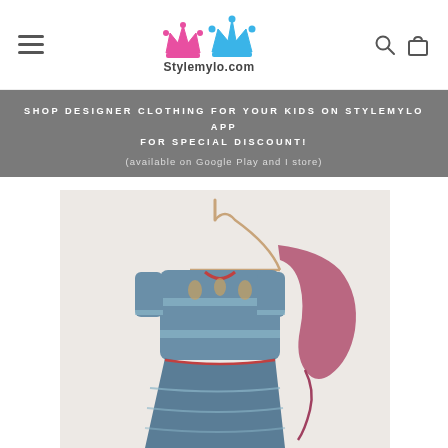Stylemylo.com
SHOP DESIGNER CLOTHING FOR YOUR KIDS ON STYLEMYLO APP FOR SPECIAL DISCOUNT!
(available on Google Play and I store)
[Figure (photo): Children's ethnic wear set — a blue embroidered top with red detailing on a hanger, paired with a matching skirt, and a pink/maroon dupatta draped to the right side, displayed against a white background.]